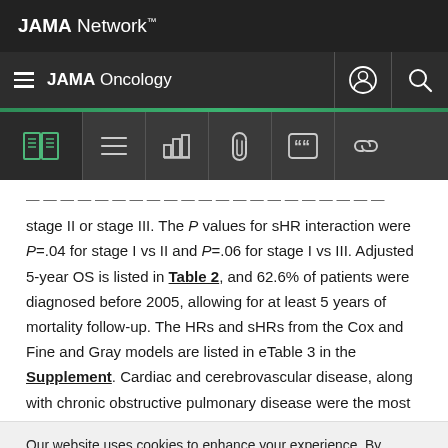JAMA Network™
JAMA Oncology
stage II or stage III. The P values for sHR interaction were P=.04 for stage I vs II and P=.06 for stage I vs III. Adjusted 5-year OS is listed in Table 2, and 62.6% of patients were diagnosed before 2005, allowing for at least 5 years of mortality follow-up. The HRs and sHRs from the Cox and Fine and Gray models are listed in eTable 3 in the Supplement. Cardiac and cerebrovascular disease, along with chronic obstructive pulmonary disease were the most
Our website uses cookies to enhance your experience. By continuing to use our site, or clicking "Continue," you are agreeing to our Cookie Policy | Continue